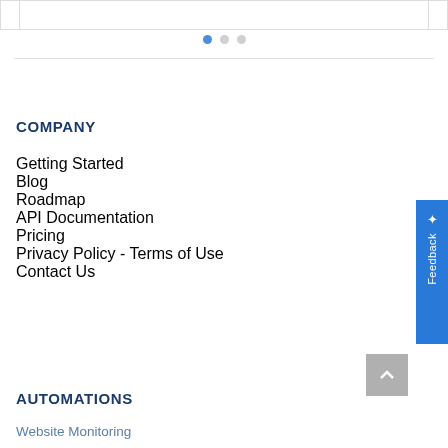[Figure (screenshot): Carousel card strip at top of page with left, center, right panels]
[Figure (infographic): Three navigation dots, first dot filled blue, two dots grey indicating carousel position]
COMPANY
Getting Started
Blog
Roadmap
API Documentation
Pricing
Privacy Policy - Terms of Use
Contact Us
AUTOMATIONS
Website Monitoring